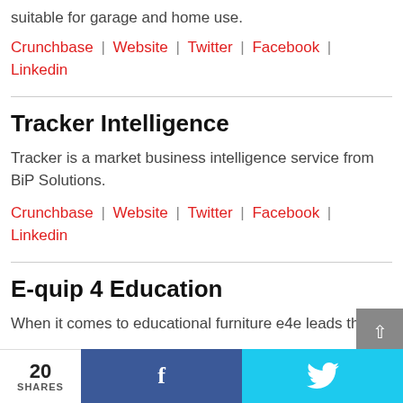suitable for garage and home use.
Crunchbase | Website | Twitter | Facebook | Linkedin
Tracker Intelligence
Tracker is a market business intelligence service from BiP Solutions.
Crunchbase | Website | Twitter | Facebook | Linkedin
E-quip 4 Education
When it comes to educational furniture e4e leads the
20 SHARES  f  (Twitter bird)